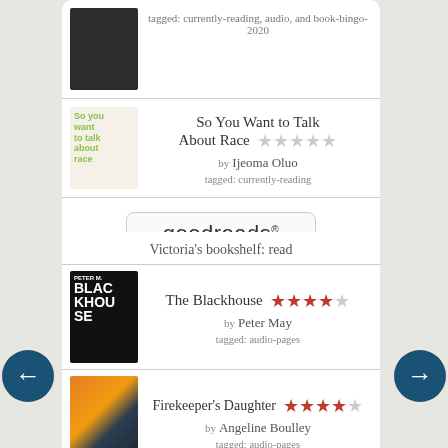tagged: currently-reading, audio, and book-bingo-2020
[Figure (illustration): Book cover: So You Want to Talk About Race by Ijeoma Oluo]
So You Want to Talk About Race by Ijeoma Oluo tagged: currently-reading
[Figure (logo): goodreads logo button]
Victoria's bookshelf: read
[Figure (illustration): Book cover: The Blackhouse by Peter May]
The Blackhouse by Peter May tagged: audio-pages
[Figure (illustration): Book cover: Firekeeper's Daughter by Angeline Boulley]
Firekeeper's Daughter by Angeline Boulley tagged: audio-pages
[Figure (illustration): Book cover: Young Mungo by Douglas Stuart]
Young Mungo by Douglas Stuart tagged: audio and book-club